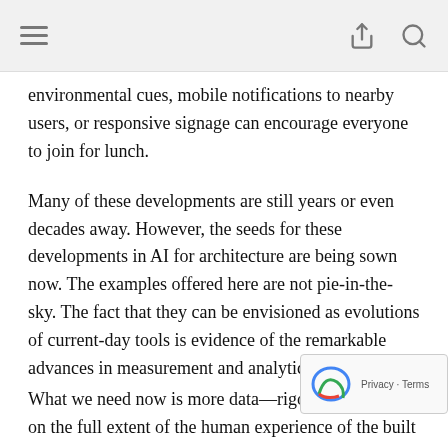environmental cues, mobile notifications to nearby users, or responsive signage can encourage everyone to join for lunch.
Many of these developments are still years or even decades away. However, the seeds for these developments in AI for architecture are being sown now. The examples offered here are not pie-in-the-sky. The fact that they can be envisioned as evolutions of current-day tools is evidence of the remarkable advances in measurement and analytical abilities in the last few years.
What we need now is more data—rigorous rese...